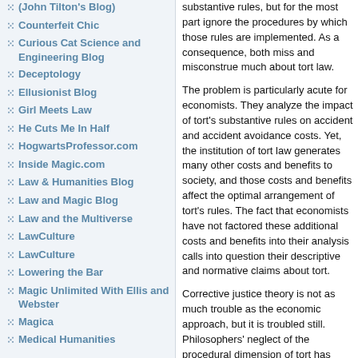(John Tilton's Blog)
Counterfeit Chic
Curious Cat Science and Engineering Blog
Deceptology
Ellusionist Blog
Girl Meets Law
He Cuts Me In Half
HogwartsProfessor.com
Inside Magic.com
Law & Humanities Blog
Law and Magic Blog
Law and the Multiverse
LawCulture
LawCulture
Lowering the Bar
Magic Unlimited With Ellis and Webster
Magica
Medical Humanities
substantive rules, but for the most part ignore the procedures by which those rules are implemented. As a consequence, both miss and misconstrue much about tort law.

The problem is particularly acute for economists. They analyze the impact of tort's substantive rules on accident and accident avoidance costs. Yet, the institution of tort law generates many other costs and benefits to society, and those costs and benefits affect the optimal arrangement of tort's rules. The fact that economists have not factored these additional costs and benefits into their analysis calls into question their descriptive and normative claims about tort.

Corrective justice theory is not as much trouble as the economic approach, but it is troubled still. Philosophers' neglect of the procedural dimension of tort has caused them to overlook ways that tort does justice between wrongdoers and victims. An